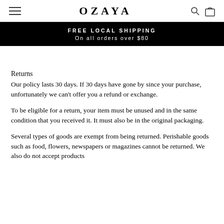OZAYA
FREE LOCAL SHIPPING
On all orders over $80
Returns
Our policy lasts 30 days. If 30 days have gone by since your purchase, unfortunately we can't offer you a refund or exchange.
To be eligible for a return, your item must be unused and in the same condition that you received it. It must also be in the original packaging.
Several types of goods are exempt from being returned. Perishable goods such as food, flowers, newspapers or magazines cannot be returned. We also do not accept products